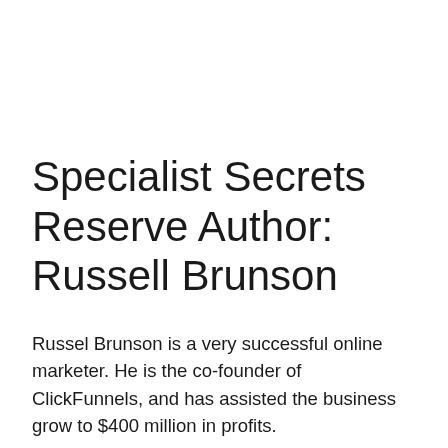Specialist Secrets Reserve Author: Russell Brunson
Russel Brunson is a very successful online marketer. He is the co-founder of ClickFunnels, and has assisted the business grow to $400 million in profits.